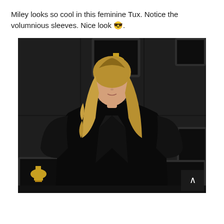Miley looks so cool in this feminine Tux. Notice the volumnious sleeves. Nice look 😎.
[Figure (photo): Photo of Miley Cyrus at the Grammy Awards wearing an oversized black tuxedo jacket with voluminous sleeves, standing in front of a dark wall displaying Grammy trophy plaques. She has long wavy blonde hair and drop earrings. A scroll-to-top button is visible in the bottom right corner.]